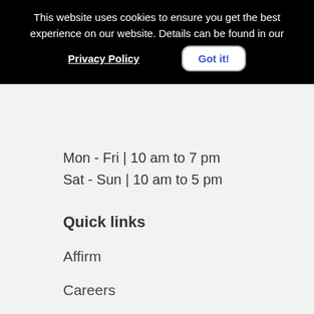This website uses cookies to ensure you get the best experience on our website. Details can be found in our Privacy Policy  Got it!
Mon - Fri | 10 am to 7 pm
Sat - Sun | 10 am to 5 pm
Quick links
Affirm
Careers
Connection Library
Contactless Curbside Pick Up